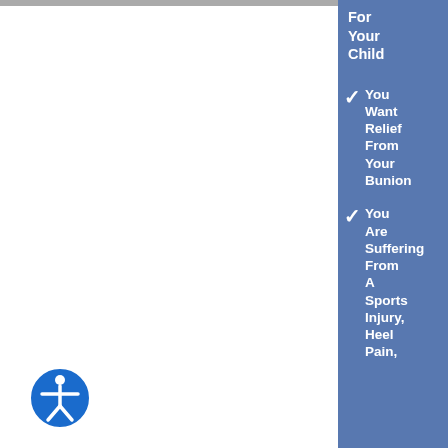For Your Child
You Want Relief From Your Bunion
You Are Suffering From A Sports Injury, Heel Pain,